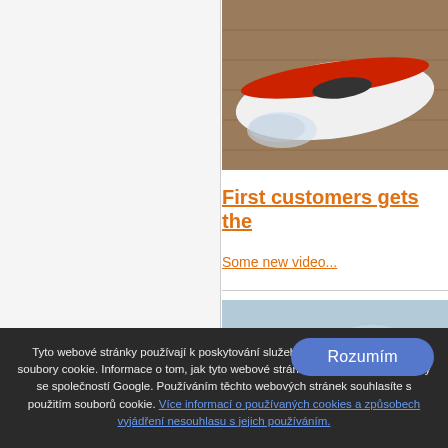[Figure (photo): Photo of a red and white boat/hydroplane model on a wooden floor]
First customers gets the
Some new video...
[Figure (photo): GPS Triangle Marco - landscape photo with mountains and sky, bold text overlay]
Tyto webové stránky používají k poskytování služeb a analýze návštěvnosti soubory cookie. Informace o tom, jak tyto webové stránky používáte, jsou sdíleny se společností Google. Používáním těchto webových stránek souhlasíte s použitím souborů cookie. Více informací o používaných cookies a způsobech vyjádření nesouhlasu s jejich používáním.